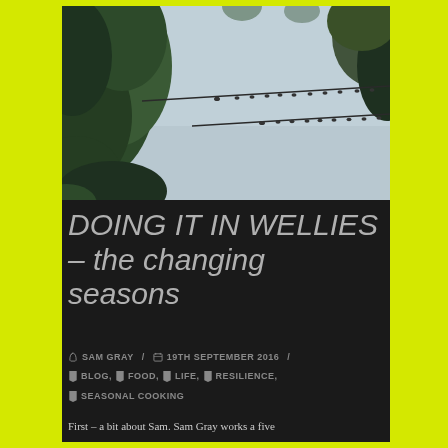[Figure (photo): Birds sitting on electrical wires against a pale blue-grey sky, with green leafy trees on the left and right edges of the frame. Multiple small birds perched along two parallel wires.]
DOING IT IN WELLIES – the changing seasons
✏ SAM GRAY  /  🗓 19TH SEPTEMBER 2016  /
🏷 BLOG, 🏷 FOOD, 🏷 LIFE, 🏷 RESILIENCE, 🏷 SEASONAL COOKING
First – a bit about Sam. Sam Gray works a five